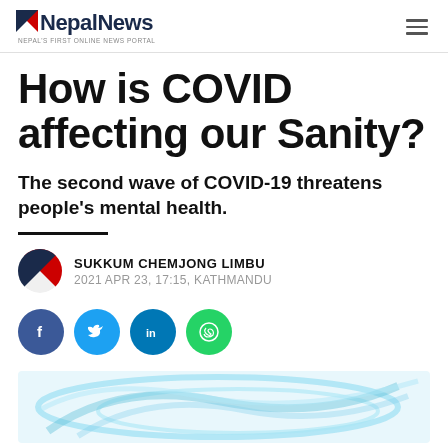NepalNews — Nepal's first online news portal
How is COVID affecting our Sanity?
The second wave of COVID-19 threatens people's mental health.
SUKKUM CHEMJONG LIMBU
2021 APR 23, 17:15, KATHMANDU
[Figure (other): Social media share buttons: Facebook, Twitter, LinkedIn, WhatsApp]
[Figure (photo): Header image showing blue abstract/medical background illustration]